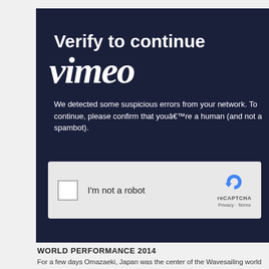Verify to continue
[Figure (logo): Vimeo logo in white italic script font on dark navy background]
We detected some suspicious errors from your network. To continue, please confirm that youâ€™re a human (and not a spambot).
[Figure (screenshot): reCAPTCHA checkbox widget with 'I'm not a robot' label and reCAPTCHA branding with Privacy and Terms links]
WORLD PERFORMANCE 2014
For a few days Omazaeki, Japan was the center of the Wavesailing world holding th and locals. Results were, Alex Mussolini (1st), Graham Ezzy (2nd), Bernd Roediger